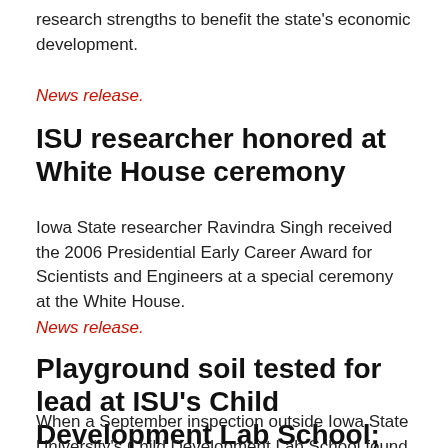research strengths to benefit the state's economic development.
News release.
ISU researcher honored at White House ceremony
Iowa State researcher Ravindra Singh received the 2006 Presidential Early Career Award for Scientists and Engineers at a special ceremony at the White House.
News release.
Playground soil tested for lead at ISU's Child Development Lab School; no hazard found
When a September inspection outside Iowa State University's Child Development Lab School found evidence of lead paint chips on the northwest perimeter of